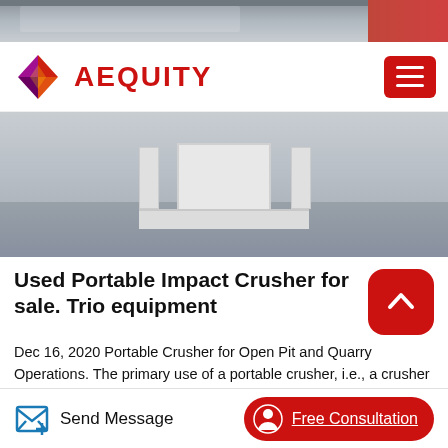[Figure (photo): Top partial image of an industrial/factory interior scene]
AEQUITY
[Figure (photo): Main image of industrial equipment on a concrete floor, showing a large white structural component]
Used Portable Impact Crusher for sale. Trio equipment
Dec 16, 2020 Portable Crusher for Open Pit and Quarry Operations. The primary use of a portable crusher, i.e., a crusher mounted on crawlers or tires, in the rock and mining industries is to reduce costs by permitting the substitution of conveyor belt haulage for truck or track haulage.Eagle Crusher started as a family business with a rich heritage going back more than 100 years. Eagle is still a family-
Send Message | Free Consultation